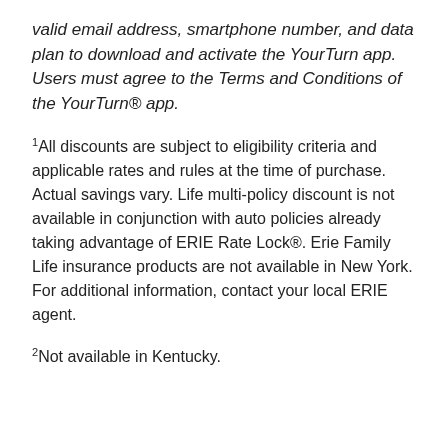valid email address, smartphone number, and data plan to download and activate the YourTurn app. Users must agree to the Terms and Conditions of the YourTurn® app.
1All discounts are subject to eligibility criteria and applicable rates and rules at the time of purchase. Actual savings vary. Life multi-policy discount is not available in conjunction with auto policies already taking advantage of ERIE Rate Lock®. Erie Family Life insurance products are not available in New York. For additional information, contact your local ERIE agent.
2Not available in Kentucky.